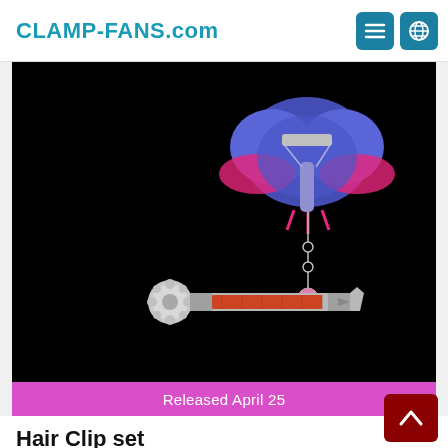CLAMP-FANS.com
[Figure (photo): Hair clip set product photo on black background showing a butterfly hair clip (blue and pink butterfly design with dangling chain and pink bead) and a pipe/bar style hair clip with silver and orange/red design, both displayed against black background.]
Released April 25
Hair Clip set
1,500 yen (1,364 yen tax excl.)
Size: Butterfly approx. 5.4x4.1cm, Pipe approx. 9x2.1cm / Materials: Metal + Acrylic / 2 clip set